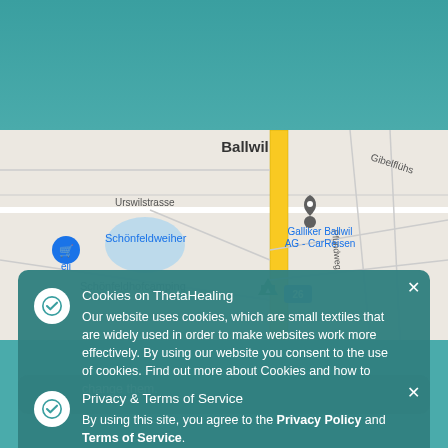[Figure (screenshot): Search bar with dropdown chevron on teal background header]
[Figure (map): Google Maps screenshot showing Ballwil area with Galliker Ballwil AG - CarReisen location marker, Schönfeldweiher, Schönfeldhofcamping, Urswilstrasse, Gibelflühstrasse, Pfundweg, and road 26]
Cookies on ThetaHealing
Our website uses cookies, which are small textiles that are widely used in order to make websites work more effectively. By using our website you consent to the use of cookies. Find out more about Cookies and how to change them.
Privacy & Terms of Service
By using this site, you agree to the Privacy Policy and Terms of Service.